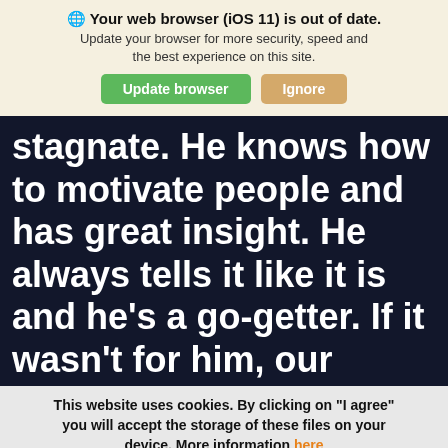🌐 Your web browser (iOS 11) is out of date. Update your browser for more security, speed and the best experience on this site.
Update browser | Ignore
stagnate. He knows how to motivate people and has great insight. He always tells it like it is and he's a go-getter. If it wasn't for him, our
This website uses cookies. By clicking on "I agree" you will accept the storage of these files on your device. More information here
Settings | I agree